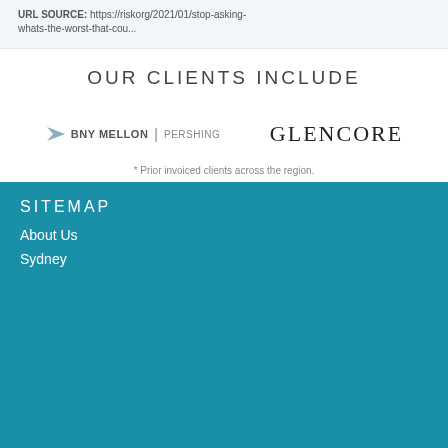whats-the-worst-that-cou...
OUR CLIENTS INCLUDE
[Figure (logo): BNY Mellon | Pershing logo with arrow icon]
[Figure (logo): GLENCORE logo in serif font]
* Prior invoiced clients across the region.
SITEMAP
About Us
Sydney